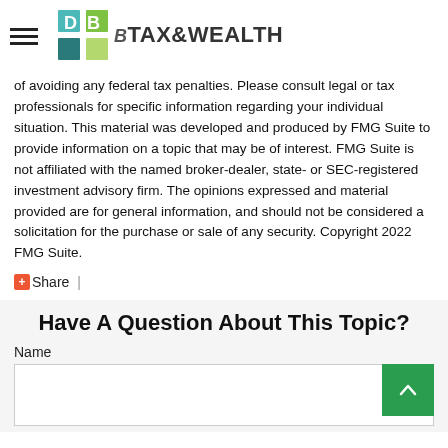DB TAX&WEALTH
of avoiding any federal tax penalties. Please consult legal or tax professionals for specific information regarding your individual situation. This material was developed and produced by FMG Suite to provide information on a topic that may be of interest. FMG Suite is not affiliated with the named broker-dealer, state- or SEC-registered investment advisory firm. The opinions expressed and material provided are for general information, and should not be considered a solicitation for the purchase or sale of any security. Copyright 2022 FMG Suite.
Share |
Have A Question About This Topic?
Name